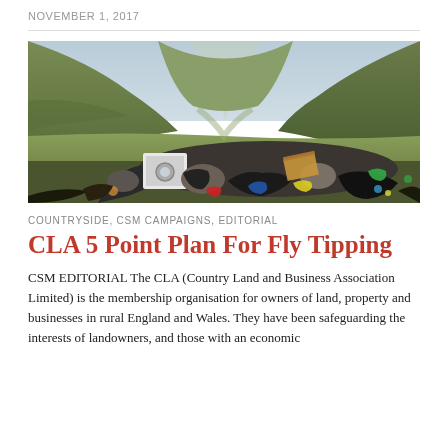NOVEMBER 1, 2017
[Figure (photo): Fly-tipped rubbish including a washing machine, bags of waste, and large rocks dumped in a rural valley with green hills in the background.]
COUNTRYSIDE, CSM CAMPAIGNS, EDITORIAL
CLA 5 Point Plan For Fly Tipping
CSM EDITORIAL The CLA (Country Land and Business Association Limited) is the membership organisation for owners of land, property and businesses in rural England and Wales. They have been safeguarding the interests of landowners, and those with an economic